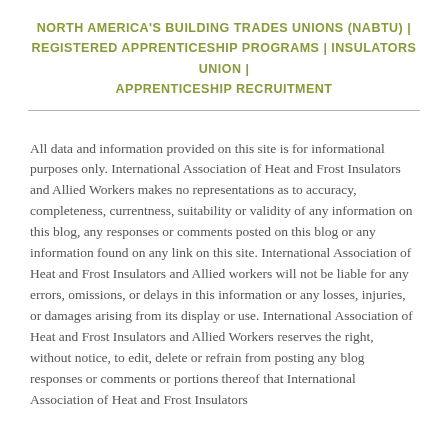NORTH AMERICA'S BUILDING TRADES UNIONS (NABTU) | REGISTERED APPRENTICESHIP PROGRAMS | INSULATORS UNION | APPRENTICESHIP RECRUITMENT
All data and information provided on this site is for informational purposes only. International Association of Heat and Frost Insulators and Allied Workers makes no representations as to accuracy, completeness, currentness, suitability or validity of any information on this blog, any responses or comments posted on this blog or any information found on any link on this site. International Association of Heat and Frost Insulators and Allied workers will not be liable for any errors, omissions, or delays in this information or any losses, injuries, or damages arising from its display or use. International Association of Heat and Frost Insulators and Allied Workers reserves the right, without notice, to edit, delete or refrain from posting any blog responses or comments or portions thereof that International Association of Heat and Frost Insulators